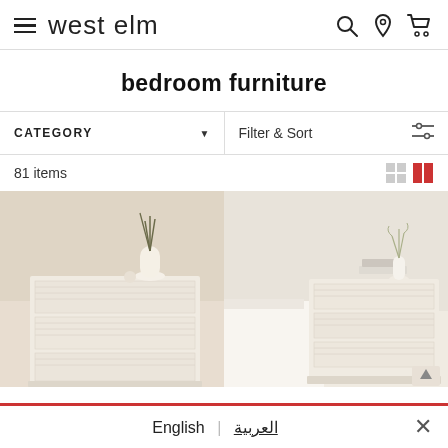west elm
bedroom furniture
CATEGORY ▼   |   Filter & Sort
81 items
[Figure (photo): Two product photos of white/cream bedroom dressers with geometric panel drawer fronts. Left: wider dresser with 3 drawers, vase and plant decor on top. Right: taller narrower nightstand with stacked items and white vase on top, beside a bed with white bedding.]
English | العربية  ✕